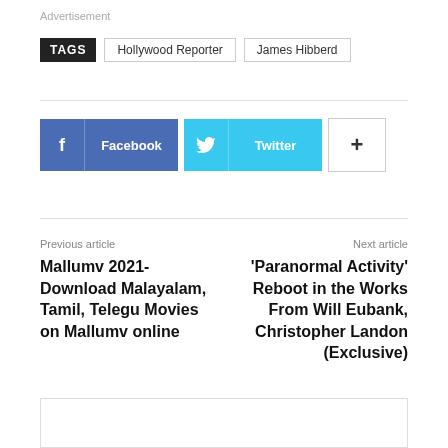Advertisement
TAGS  Hollywood Reporter  James Hibberd
[Figure (other): Social share buttons: Facebook, Twitter, and a plus/more button]
Previous article
Mallumv 2021- Download Malayalam, Tamil, Telegu Movies on Mallumv online
Next article
'Paranormal Activity' Reboot in the Works From Will Eubank, Christopher Landon (Exclusive)